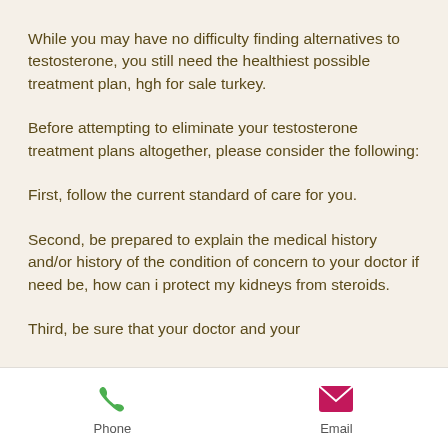While you may have no difficulty finding alternatives to testosterone, you still need the healthiest possible treatment plan, hgh for sale turkey.
Before attempting to eliminate your testosterone treatment plans altogether, please consider the following:
First, follow the current standard of care for you.
Second, be prepared to explain the medical history and/or history of the condition of concern to your doctor if need be, how can i protect my kidneys from steroids.
Third, be sure that your doctor and your
Phone   Email